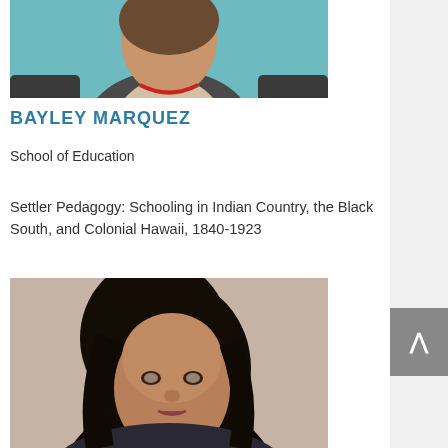[Figure (photo): Partial photo of a person wearing a dark cardigan and red necklace against a teal background, cropped to show shoulders and lower face/neck area.]
BAYLEY MARQUEZ
School of Education
Settler Pedagogy: Schooling in Indian Country, the Black South, and Colonial Hawaii, 1840-1923
[Figure (photo): Headshot photo of a woman with long dark hair against a beige/cream background, looking directly at the camera.]